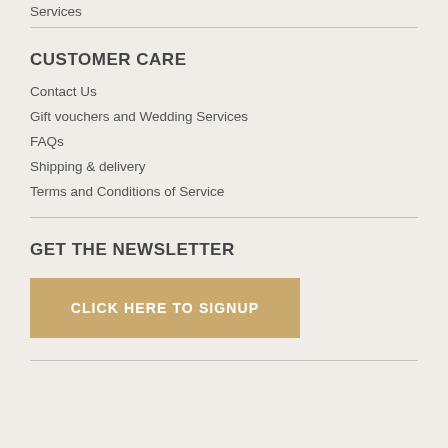Services
CUSTOMER CARE
Contact Us
Gift vouchers and Wedding Services
FAQs
Shipping & delivery
Terms and Conditions of Service
GET THE NEWSLETTER
CLICK HERE TO SIGNUP